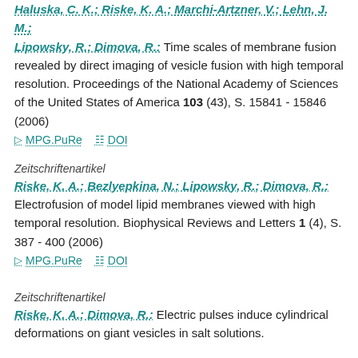Haluska, C. K.; Riske, K. A.; Marchi-Artzner, V.; Lehn, J. M.; Lipowsky, R.; Dimova, R.: Time scales of membrane fusion revealed by direct imaging of vesicle fusion with high temporal resolution. Proceedings of the National Academy of Sciences of the United States of America 103 (43), S. 15841 - 15846 (2006)
MPG.PuRe   DOI
Zeitschriftenartikel
Riske, K. A.; Bezlyepkina, N.; Lipowsky, R.; Dimova, R.: Electrofusion of model lipid membranes viewed with high temporal resolution. Biophysical Reviews and Letters 1 (4), S. 387 - 400 (2006)
MPG.PuRe   DOI
Zeitschriftenartikel
Riske, K. A.; Dimova, R.: Electric pulses induce cylindrical deformations on giant vesicles in salt solutions.